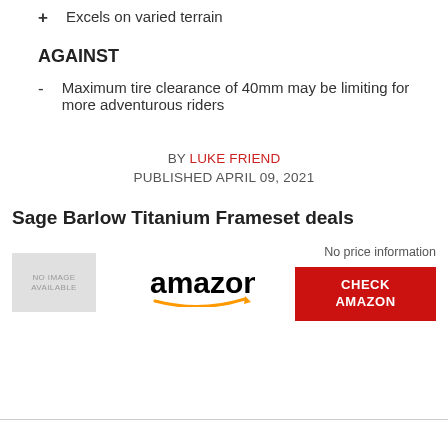+ Excels on varied terrain
AGAINST
- Maximum tire clearance of 40mm may be limiting for more adventurous riders
BY LUKE FRIEND
PUBLISHED APRIL 09, 2021
Sage Barlow Titanium Frameset deals
No price information
CHECK AMAZON